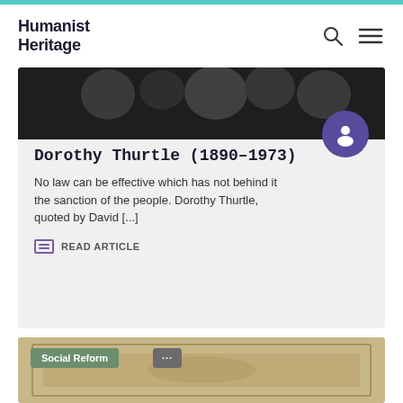Humanist Heritage
Dorothy Thurtle (1890–1973)
No law can be effective which has not behind it the sanction of the people. Dorothy Thurtle, quoted by David [...]
READ ARTICLE
[Figure (photo): Bottom card showing Social Reform category tag with a historical photograph background]
Social Reform